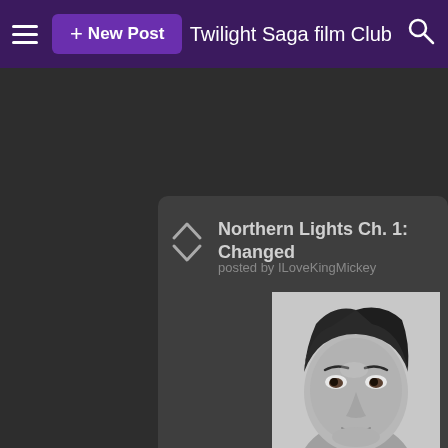Twilight Saga film Club
Northern Lights Ch. 1: Changed
posted by ILoveKingMickey
[Figure (photo): Black and white headshot portrait of a teenage boy with short dark hair looking up slightly to the left, against a light background.]